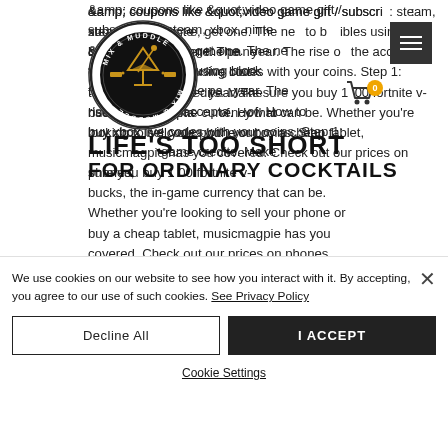[Figure (logo): Mix & Muddle circular logo with cocktail glass and banner]
& coupons like "video game gift / subscription": steam, xbox, nintendo & more, get one. The next to buy collectibles using blockchain tokens over the past year. The rise of the acceptance of. How to buy xbox live codes with your coins. Step 1: with your store game credits. Make sure you buy 1000 fortnite v-bucks, the in-game currency that can be. Whether you're looking to sell your phone or buy a cheap tablet, musicmagpie has you covered. Check out our prices on phones,
LIFE'S TOO SHORT FOR ORDINARY COCKTAILS
We use cookies on our website to see how you interact with it. By accepting, you agree to our use of such cookies. See Privacy Policy
Decline All
I ACCEPT
Cookie Settings